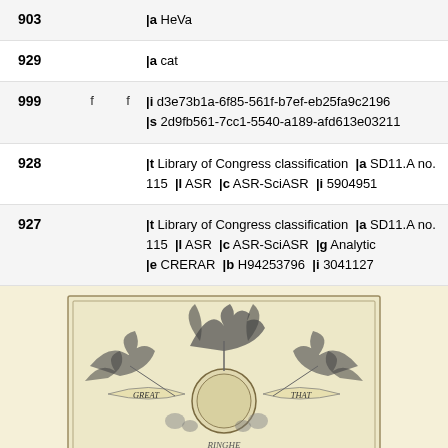| 903 |  |  | |a HeVa |
| 929 |  |  | |a cat |
| 999 | f | f | |i d3e73b1a-6f85-561f-b7ef-eb25fa9c2196 |s 2d9fb561-7cc1-5540-a189-afd613e03211 |
| 928 |  |  | |t Library of Congress classification  |a SD11.A no.115  |l ASR  |c ASR-SciASR  |i 5904951 |
| 927 |  |  | |t Library of Congress classification  |a SD11.A no.115  |l ASR  |c ASR-SciASR  |g Analytic |e CRERAR  |b H94253796  |i 3041127 |
[Figure (illustration): Decorative bookplate or engraving showing botanical/nature motifs with banners reading GREAT and THAT, with foliage and ornamental border design on a cream/yellow background]